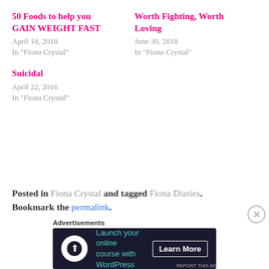50 Foods to help you GAIN WEIGHT FAST
April 18, 2018
In "Fiona Crystal"
Worth Fighting, Worth Loving
June 30, 2018
In "Fiona Crystal"
Suicidal
April 22, 2016
In "Fiona Crystal"
Posted in Fiona Crystal and tagged Fiona Diaries. Bookmark the permalink.
Advertisements
[Figure (infographic): Advertisement banner with dark background: 'Launch your online course with WordPress' with a Learn More button]